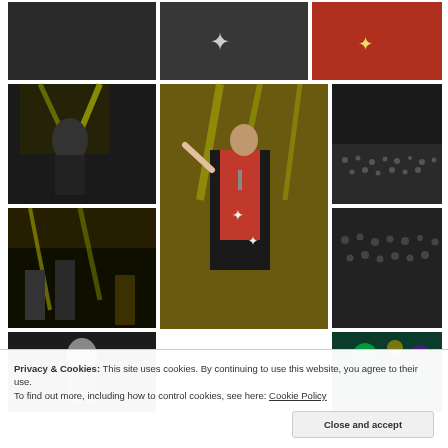[Figure (photo): Concert photo collage: top row three photos - dark figure, black and white star costume, red and black star costume. Middle and lower rows: performer with microphone under yellow stage lights, large center image of singer in star-patterned coat with arm raised, crowd shots in black and white, band on stage, colorful stage elements.]
Privacy & Cookies: This site uses cookies. By continuing to use this website, you agree to their use.
To find out more, including how to control cookies, see here: Cookie Policy
Close and accept